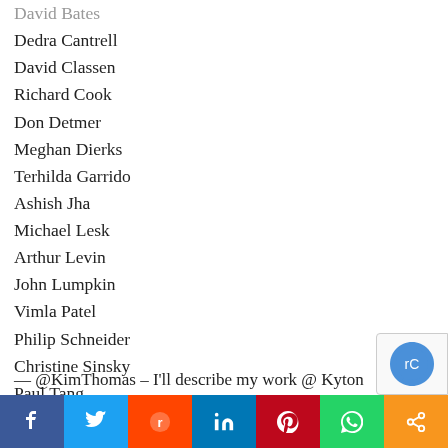David Bates
Dedra Cantrell
David Classen
Richard Cook
Don Detmer
Meghan Dierks
Terhilda Garrido
Ashish Jha
Michael Lesk
Arthur Levin
John Lumpkin
Vimla Patel
Philip Schneider
Christine Sinsky
Paul Tang
— @KimThomas – I'll describe my work @ Kyton